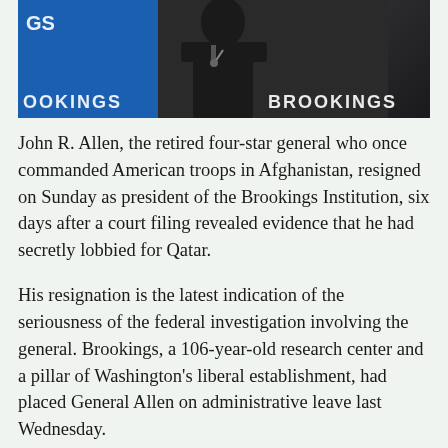[Figure (photo): A man in a dark suit speaking at a Brookings Institution podium, blue Brookings branding visible in the background]
John R. Allen, the retired four-star general who once commanded American troops in Afghanistan, resigned on Sunday as president of the Brookings Institution, six days after a court filing revealed evidence that he had secretly lobbied for Qatar.
His resignation is the latest indication of the seriousness of the federal investigation involving the general. Brookings, a 106-year-old research center and a pillar of Washington's liberal establishment, had placed General Allen on administrative leave last Wednesday.
“The integrity and objectivity of Brookings’s